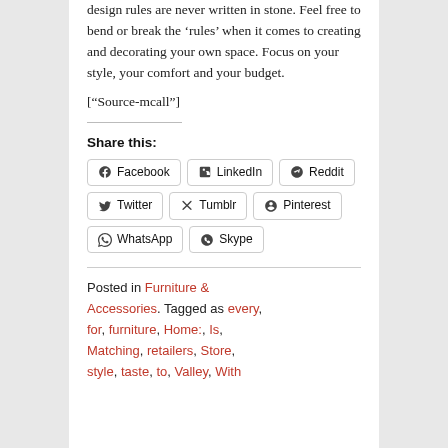design rules are never written in stone. Feel free to bend or break the ‘rules’ when it comes to creating and decorating your own space. Focus on your style, your comfort and your budget.
[“Source-mcall”]
Share this:
Facebook  LinkedIn  Reddit  Twitter  Tumblr  Pinterest  WhatsApp  Skype
Posted in Furniture & Accessories. Tagged as every, for, furniture, Home:, Is, Matching, retailers, Store, style, taste, to, Valley, With